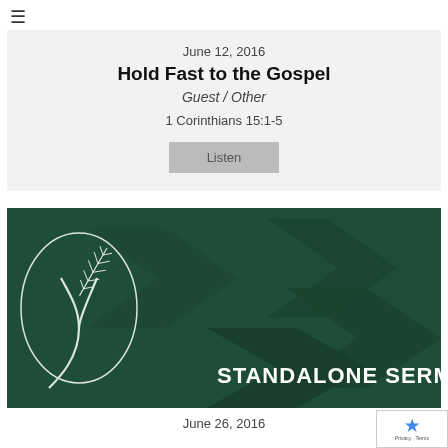≡
June 12, 2016
Hold Fast to the Gospel
Guest / Other
1 Corinthians 15:1-5
Listen
[Figure (illustration): Dark green graphic with angular arrow shapes and a wheat/leaf motif with a circular script design. Text reads STANDALONE SERMO (partially cut off) — a standalone sermon series graphic.]
June 26, 2016